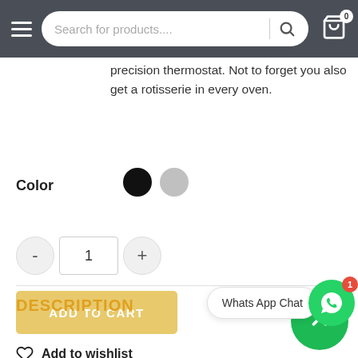[Figure (screenshot): E-commerce product page navigation bar with hamburger menu, search bar, and cart icon showing 0 items]
precision thermostat. Not to forget you also get a rotisserie in every oven.
Color
[Figure (other): Two color swatches: black circle (selected) and gray circle]
[Figure (other): Quantity selector with minus button, input field showing 1, and plus button]
[Figure (other): ADD TO CART yellow button]
[Figure (other): Whats App Chat button with green WhatsApp icon and red badge showing 1]
Add to wishlist
DESCRIPTION
[Figure (other): Green scroll-to-top circle button at bottom right]